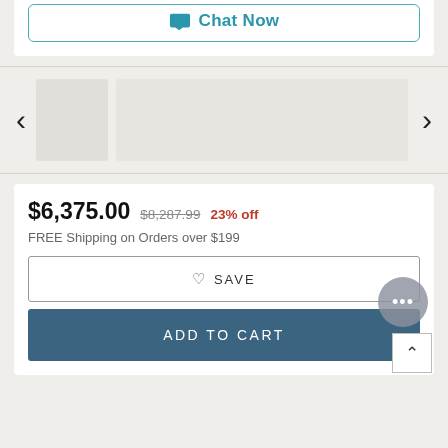[Figure (screenshot): Chat Now button with teal border and teal text/icon]
[Figure (screenshot): Product image carousel with left and right navigation arrows and a thumbnail on the left side]
$6,375.00  $8,287.99  23% off
FREE Shipping on Orders over $199
[Figure (screenshot): SAVE button with heart icon, outlined style]
[Figure (screenshot): ADD TO CART button, dark teal/blue background, white text]
[Figure (screenshot): Floating chat support button (ellipsis/three-dot icon) and back-to-top arrow button]